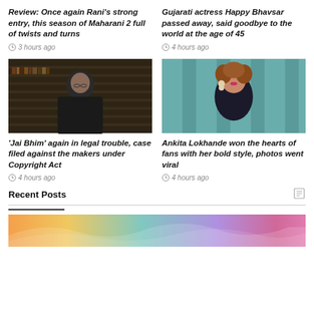Review: Once again Rani's strong entry, this season of Maharani 2 full of twists and turns
3 hours ago
Gujarati actress Happy Bhavsar passed away, said goodbye to the world at the age of 45
4 hours ago
[Figure (photo): Actor in dark suit standing in front of bookshelves]
[Figure (photo): Woman with curly auburn hair in black outfit with earrings]
'Jai Bhim' again in legal trouble, case filed against the makers under Copyright Act
4 hours ago
Ankita Lokhande won the hearts of fans with her bold style, photos went viral
4 hours ago
Recent Posts
[Figure (photo): Colorful abstract wave background image at the bottom of the page]